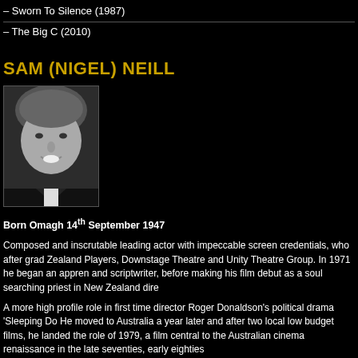– Sworn To Silence (1987)
– The Big C (2010)
SAM (NIGEL) NEILL
[Figure (photo): Black and white headshot photograph of Sam Neill, smiling, middle-aged man with short hair wearing a dark suit]
Born Omagh 14th September 1947
Composed and inscrutable leading actor with impeccable screen credentials, who after grad Zealand Players, Downstage Theatre and Unity Theatre Group. In 1971 he began an appren and scriptwriter, before making his film debut as a soul searching priest in New Zealand dire
A more high profile role in first time director Roger Donaldson's political drama 'Sleeping Do He moved to Australia a year later and after two local low budget films, he landed the role of 1979, a film central to the Australian cinema renaissance in the late seventies, early eighties
His performance induced interest from American and British film makers but it took almost tw of Damien Thorn, in the third instalment of 'The Omen' series, 'The Final Contract' 1981. A made to order role in 1983, was his fearless Sidney Reilly in the mini series 'Reilly Ac